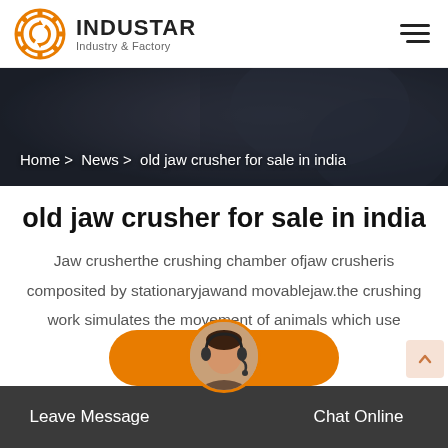INDUSTAR Industry & Factory
[Figure (screenshot): Dark industrial hero banner with machinery background]
Home > News > old jaw crusher for sale in india
old jaw crusher for sale in india
Jaw crusherthe crushing chamber ofjaw crusheris composited by stationaryjawand movablejaw.the crushing work simulates the movement of animals which use twojawcrushers to crush…
Leave Message   Chat Online